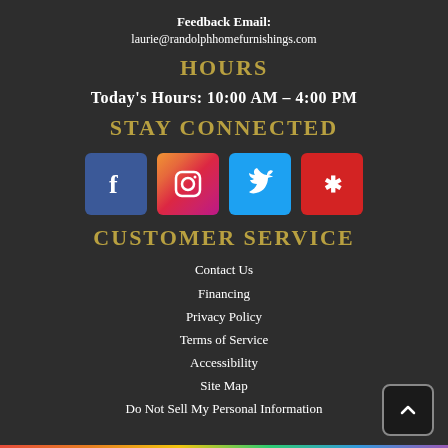Feedback Email:
laurie@randolphhomefurnishings.com
HOURS
Today's Hours: 10:00 AM - 4:00 PM
STAY CONNECTED
[Figure (infographic): Social media icons: Facebook (blue), Instagram (gradient), Twitter (light blue), Yelp (red)]
CUSTOMER SERVICE
Contact Us
Financing
Privacy Policy
Terms of Service
Accessibility
Site Map
Do Not Sell My Personal Information